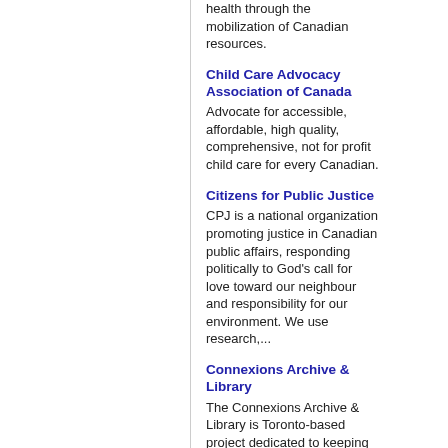health through the mobilization of Canadian resources.
Child Care Advocacy Association of Canada
Advocate for accessible, affordable, high quality, comprehensive, not for profit child care for every Canadian.
Citizens for Public Justice
CPJ is a national organization promoting justice in Canadian public affairs, responding politically to God's call for love toward our neighbour and responsibility for our environment. We use research,...
Connexions Archive & Library
The Connexions Archive & Library is Toronto-based project dedicated to keeping